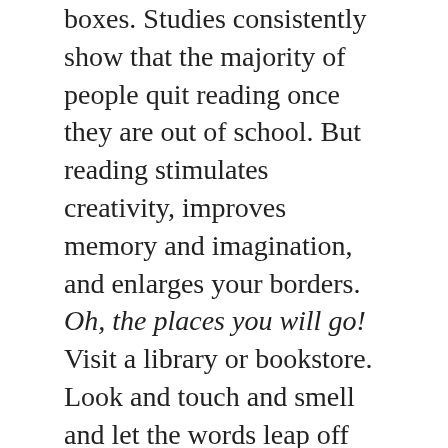boxes. Studies consistently show that the majority of people quit reading once they are out of school. But reading stimulates creativity, improves memory and imagination, and enlarges your borders. Oh, the places you will go! Visit a library or bookstore. Look and touch and smell and let the words leap off the pages and into your mind and imagination. Even better... into your heart and soul.
4. Read the Bible. Even if you aren't a believer... Give it a shot! It is full of history, wisdom, scandal, poetry, romance, music, and revelation. Challenge it. Open it and enter in questioning, doubting, wondering... 2 Timothy 3:16-17 says All Scripture is breathed out by God and profitable for teaching, for reproof, for correction, and for training in righteousness that the man of God may be complete, equipped